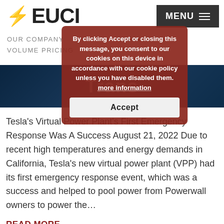[Figure (logo): EUCI logo with red lightning bolt]
OUR COMPANY   VOLUME PRICING
[Figure (screenshot): Cookie consent popup overlay with dark red/brown background reading: By clicking Accept or closing this message, you consent to our cookies on this device in accordance with our cookie policy unless you have disabled them. more information. Accept button below.]
[Figure (photo): Dark blue hexagonal patterned banner with partial text 'Trans...']
Tesla's Virtual Power Plant's First Emergency Response Was A Success August 21, 2022 Due to recent high temperatures and energy demands in California, Tesla's new virtual power plant (VPP) had its first emergency response event, which was a success and helped to pool power from Powerwall owners to power the…
READ MORE